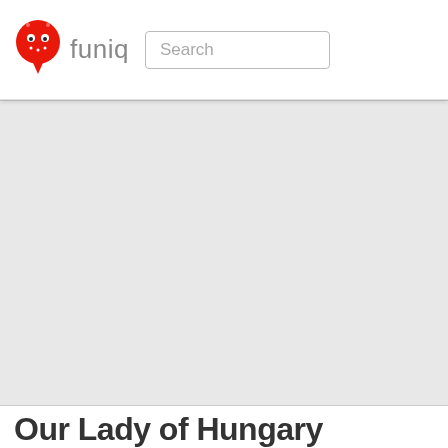funiq | Search
[Figure (other): Gray placeholder image area, large rectangular region below header]
Our Lady of Hungary Church